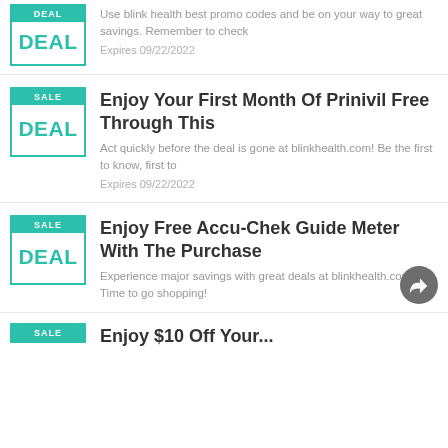[Figure (other): Deal badge with SALE label and DEAL text for first card (partially visible at top)]
Use blink health best promo codes and be on your way to great savings. Remember to check
Expires 09/22/2022
[Figure (other): Deal badge with SALE label and DEAL text for Prinivil card]
Enjoy Your First Month Of Prinivil Free Through This
Act quickly before the deal is gone at blinkhealth.com! Be the first to know, first to
Expires 09/22/2022
[Figure (other): Deal badge with SALE label and DEAL text for Accu-Chek card]
Enjoy Free Accu-Chek Guide Meter With The Purchase
Experience major savings with great deals at blinkhealth.com. Time to go shopping!
[Figure (other): Deal badge with SALE label for partially visible fourth card]
Enjoy $10 Off Your...